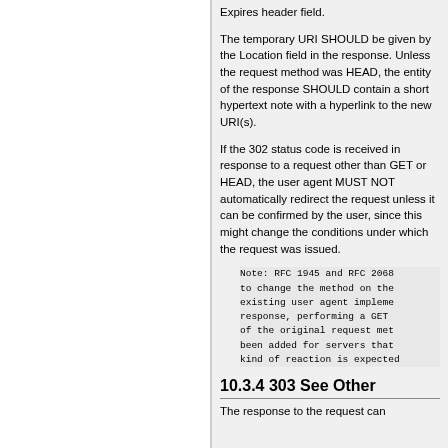Expires header field.
The temporary URI SHOULD be given by the Location field in the response. Unless the request method was HEAD, the entity of the response SHOULD contain a short hypertext note with a hyperlink to the new URI(s).
If the 302 status code is received in response to a request other than GET or HEAD, the user agent MUST NOT automatically redirect the request unless it can be confirmed by the user, since this might change the conditions under which the request was issued.
Note: RFC 1945 and RFC 2068 to change the method on the existing user agent implemen response, performing a GET o of the original request meth been added for servers that kind of reaction is expected
10.3.4 303 See Other
The response to the request can